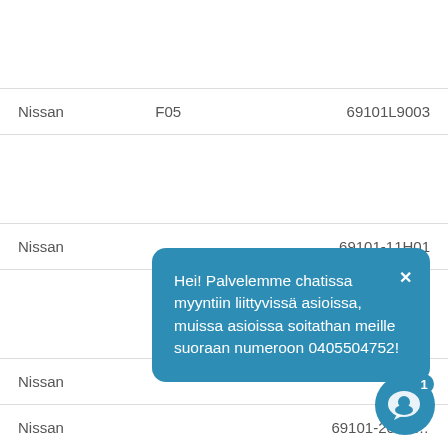| Brand | Model | Part Number |
| --- | --- | --- |
| Nissan | F05 | 69101L9003 |
| Nissan |  | 69101-11H01 |
| Nissan |  |  |
| Nissan |  | 69101-20H0? |
Hei! Palvelemme chatissa myyntiin liittyvissä asioissa, muissa asioissa soitathan meille suoraan numeroon 0405504752!